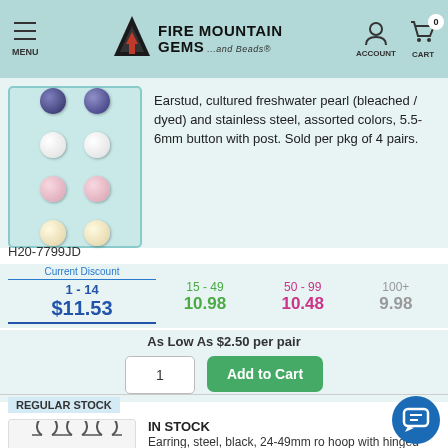MENU | FIRE MOUNTAIN GEMS ...and Beads® | ACCOUNT | CART 0
[Figure (photo): Earstud pearl earrings in a teal gift box, showing 4 pairs of button pearls in dark blue, white, pink, and cream]
Earstud, cultured freshwater pearl (bleached / dyed) and stainless steel, assorted colors, 5.5-6mm button with post. Sold per pkg of 4 pairs.
H20-7799JD
| Current Discount | 15 - 49 | 50 - 99 | 100+ |
| --- | --- | --- | --- |
| 1 - 14 |  |  |  |
| $11.53 | 10.98 | 10.48 | 9.98 |
As Low As $2.50 per pair
REGULAR STOCK
IN STOCK
Earring, steel, black, 24-49mm ro hoop with hinged closure. Sold per pkg